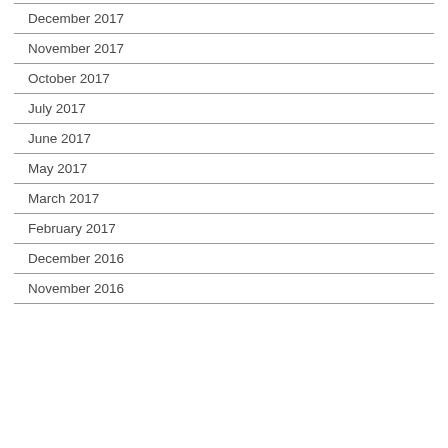December 2017
November 2017
October 2017
July 2017
June 2017
May 2017
March 2017
February 2017
December 2016
November 2016